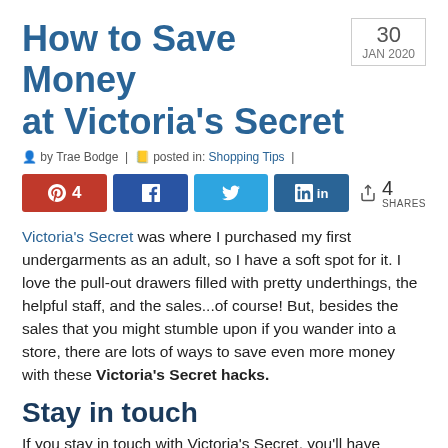How to Save Money at Victoria's Secret
30 JAN 2020
by Trae Bodge | posted in: Shopping Tips |
[Figure (infographic): Social share buttons: Pinterest (4), Facebook, Twitter, LinkedIn, with share count of 4 SHARES]
Victoria's Secret was where I purchased my first undergarments as an adult, so I have a soft spot for it. I love the pull-out drawers filled with pretty underthings, the helpful staff, and the sales...of course! But, besides the sales that you might stumble upon if you wander into a store, there are lots of ways to save even more money with these Victoria's Secret hacks.
Stay in touch
If you stay in touch with Victoria's Secret, you'll have